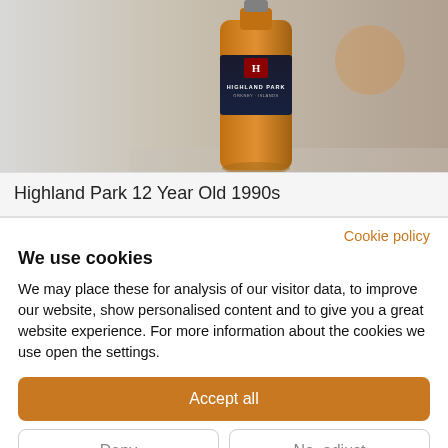[Figure (photo): Highland Park 12 Year Old 1990s whisky bottles — amber bottle with dark label showing HIGHLAND PARK and ORKNEY ISLANDS text, red crest, with a sunset/landscape scene on an adjacent bottle]
Highland Park 12 Year Old 1990s
Cookie policy
We use cookies
We may place these for analysis of our visitor data, to improve our website, show personalised content and to give you a great website experience. For more information about the cookies we use open the settings.
Accept all
Deny
No, adjust